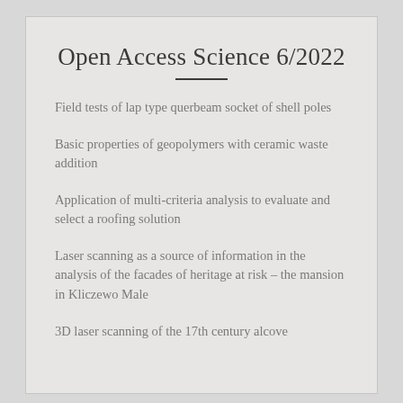Open Access Science 6/2022
Field tests of lap type querbeam socket of shell poles
Basic properties of geopolymers with ceramic waste addition
Application of multi-criteria analysis to evaluate and select a roofing solution
Laser scanning as a source of information in the analysis of the facades of heritage at risk – the mansion in Kliczewo Male
3D laser scanning of the 17th century alcove